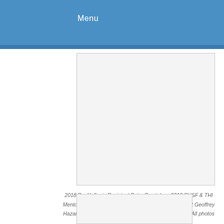Menu
[Figure (photo): Photo placeholder box (top) — group photo of PanHellenic recipients and mentors]
2018 PanHellenic Recipient Peter Prastakos, 2018 PHSF & THI Mentor Dr. Maria Spiropulu, 2018 PanHellenic Recipient Geoffrey Hazard, 2018 PanHellenic Recipient Leonidas Lavdas; All photos courtesy of Sofia Spentzas – Spiral Art Design
[Figure (photo): Photo placeholder box (bottom) — partially visible photo]